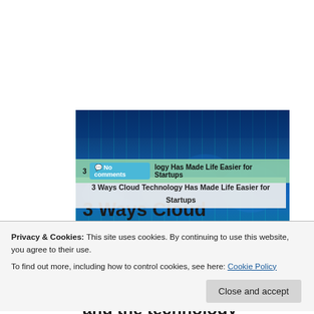[Figure (photo): Cloud technology concept image with blue tones, digital matrix lines and cloud silhouettes]
3 💬 No comments logy Has Made Life Easier for Startups
3 Ways Cloud Technology Has Made Life Easier
Privacy & Cookies: This site uses cookies. By continuing to use this website, you agree to their use.
To find out more, including how to control cookies, see here: Cookie Policy
Close and accept
and the technology segment of